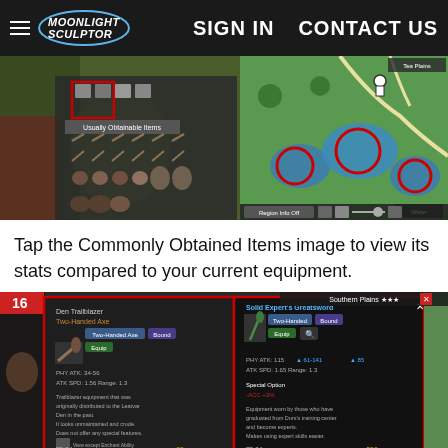MOONLIGHT SCULPTOR — SIGN IN   CONTACT US
[Figure (screenshot): Two game screenshots side by side: left shows game inventory with 'Usually Obtainable Items' and various weapon/item icons; right shows a map with red circle markers on green terrain]
Tap the Commonly Obtained Items image to view its stats compared to your current equipment.
[Figure (screenshot): Game screenshot showing equipment comparison panel: left panel shows 'Den Trailblazer Two-Handed Axe' stats (PHY ATK: 34-56, ATK SPD: 1.56, Range: 1.3) and right panel shows 'Solid Expert's Greatsword' stats (PHY ATK: 115, ATK SPD: 1.65, Range: 1.3, Special Option: ACC +3%). Southern Plains map visible on right side.]